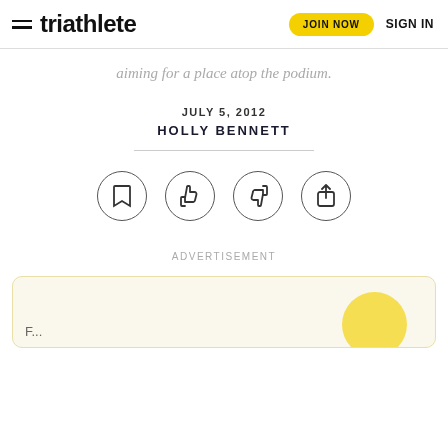triathlete — JOIN NOW  SIGN IN
aiming for a place atop the podium.
JULY 5, 2012
HOLLY BENNETT
[Figure (infographic): Four circular icon buttons: bookmark, thumbs up, thumbs down, and share]
ADVERTISEMENT
F...